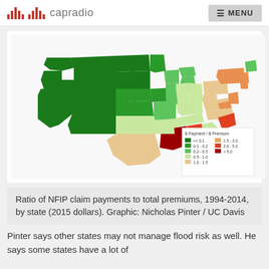capradio  MENU
[Figure (map): Choropleth map of the United States showing ratio of NFIP claim payments to total premiums by state, 1994-2014 (2015 dollars). Color legend: dark green <= 0.1, green 0.1-0.2, light green 0.2-0.5, very light green/yellow 0.5-1.0, light orange 1.0-1.5, orange 1.5-2.0, red-orange 2.0-5.0, dark red >5.0. Western states generally dark green, Gulf Coast states red/dark red, Northeast mixed.]
Ratio of NFIP claim payments to total premiums, 1994-2014, by state (2015 dollars). Graphic: Nicholas Pinter / UC Davis
Pinter says other states may not manage flood risk as well. He says some states have a lot of